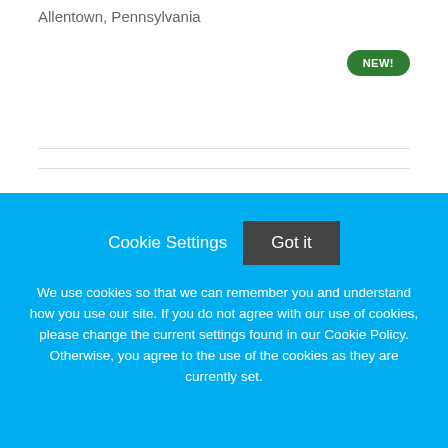Allentown, Pennsylvania
[Figure (logo): Banner Health Logo placeholder image]
Medical Assistant MA Surveillance Team
Banner Health
Mesa, Arizona
Cookie Settings
Got it
We use cookies so that we can remember you and understand how you use our site. If you do not agree with our use of cookies, please change the current settings found in our Cookie Policy. Otherwise, you agree to the use of the cookies as they are currently set.